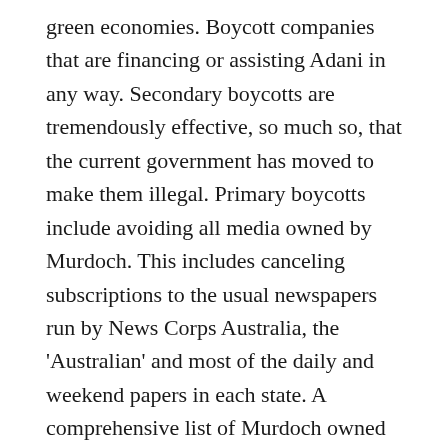green economies. Boycott companies that are financing or assisting Adani in any way. Secondary boycotts are tremendously effective, so much so, that the current government has moved to make them illegal. Primary boycotts include avoiding all media owned by Murdoch. This includes canceling subscriptions to the usual newspapers run by News Corps Australia, the 'Australian' and most of the daily and weekend papers in each state. A comprehensive list of Murdoch owned press can be found here. It includes many popular magazines, websites, as well as Foxtel and Sky News. Murdoch, through his stranglehold of Australian media, promotes climate denial and misleading, if not outright false, information and news. On the positive side, the Australian independent media network includes the following: The Guardian, New Matilda, The New Daily, Indigenous X, Renew Economy, The Conversation, The Saturday Paper, The Monthly, Crikey, Meanjin, No Fibs, Junkee, Buzfeed Oz News, The Big Smoke, More ref... while there all